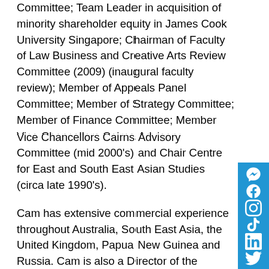Committee; Team Leader in acquisition of minority shareholder equity in James Cook University Singapore; Chairman of Faculty of Law Business and Creative Arts Review Committee (2009) (inaugural faculty review); Member of Appeals Panel Committee; Member of Strategy Committee; Member of Finance Committee; Member Vice Chancellors Cairns Advisory Committee (mid 2000's) and Chair Centre for East and South East Asian Studies (circa late 1990's).
Cam has extensive commercial experience throughout Australia, South East Asia, the United Kingdom, Papua New Guinea and Russia. Cam is also a Director of the Cowboys Rugby League Club and a former Director of the Royal Automobile Club of Queensland.
Cam graduated from the University of New South Wales with a Bachelor of Commerce in 1977 and with a Bachelor of Laws in 1980. He is a member of
[Figure (other): Social media sidebar with icons for Messenger, Facebook, Instagram, TikTok, LinkedIn, Twitter, and YouTube on a blue background]